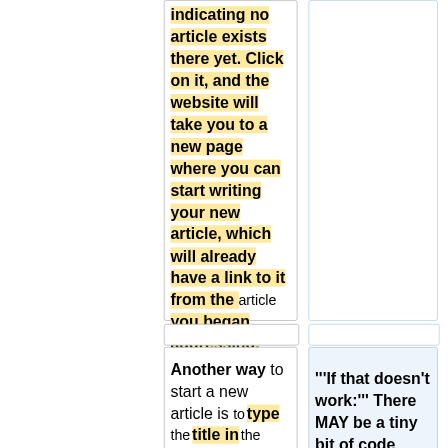indicating no article exists there yet. Click on it, and the website will take you to a new page where you can start writing your new article, which will already have a link to it from the article you began addressing. How cool is that?
Another way to start a new article is to type the title in the "search" box on the upper
'''If that doesn't work:''' There MAY be a tiny bit of code needed, in addition to